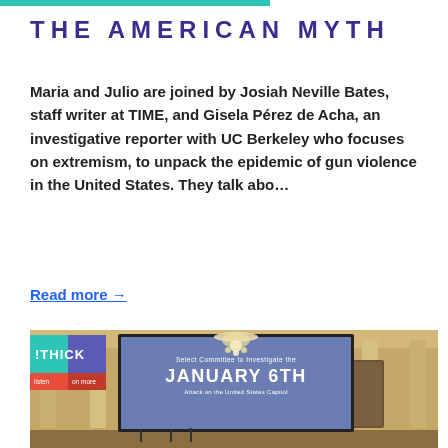THE AMERICAN MYTH
Maria and Julio are joined by Josiah Neville Bates, staff writer at TIME, and Gisela Pérez de Acha, an investigative reporter with UC Berkeley who focuses on extremism, to unpack the epidemic of gun violence in the United States. They talk abo…
Read more →
[Figure (photo): Photo of a congressional hearing room with a large projection screen displaying 'Select Committee to Investigate the JANUARY 6TH Attack on the United States Capitol', with a chandelier above and ornate columns. A podcast logo overlay reads 'THICK' in the top-left corner.]